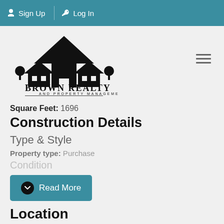Sign Up  Log In
[Figure (logo): Brown Realty and Property Management logo with rooftop silhouette and trees]
Square Feet: 1696
Construction Details
Type & Style
Property type: Purchase
Condition
Read More
Location